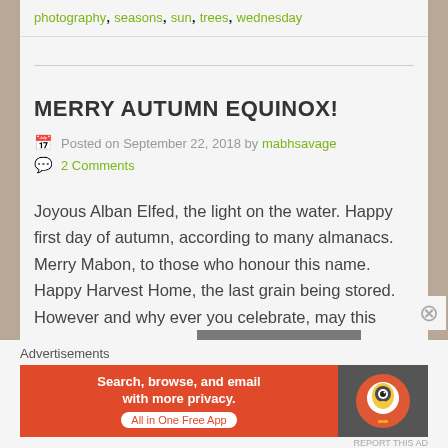photography, seasons, sun, trees, wednesday
MERRY AUTUMN EQUINOX!
Posted on September 22, 2018 by mabhsavage
2 Comments
Joyous Alban Elfed, the light on the water. Happy first day of autumn, according to many almanacs. Merry Mabon, to those who honour this name. Happy Harvest Home, the last grain being stored. However and why ever you celebrate, may this moment of balance… Continue Reading
Advertisements
[Figure (screenshot): DuckDuckGo advertisement banner: orange left section with text 'Search, browse, and email with more privacy. All in One Free App', dark right section with DuckDuckGo logo]